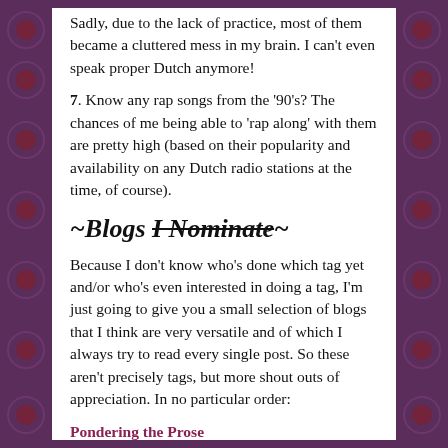Sadly, due to the lack of practice, most of them became a cluttered mess in my brain. I can't even speak proper Dutch anymore!
7. Know any rap songs from the '90's? The chances of me being able to 'rap along' with them are pretty high (based on their popularity and availability on any Dutch radio stations at the time, of course).
~Blogs I Nominate~
Because I don't know who's done which tag yet and/or who's even interested in doing a tag, I'm just going to give you a small selection of blogs that I think are very versatile and of which I always try to read every single post. So these aren't precisely tags, but more shout outs of appreciation. In no particular order:
Pondering the Prose